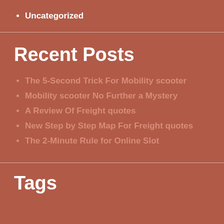Uncategorized
Recent Posts
The 5-Second Trick For Mobility scooter
Mobility scooter No Further a Mystery
A Review Of Freight quotes
New Step by Step Map For Freight quotes
The 2-Minute Rule for Online Slot
Tags